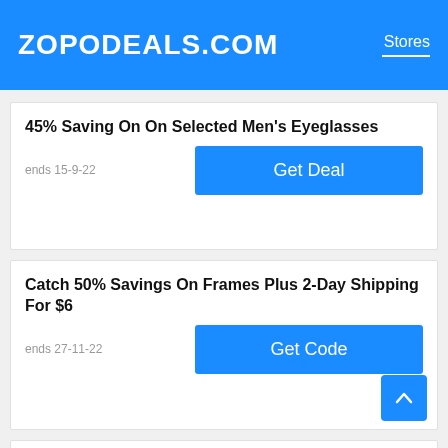ZOPODEALS.COM   Stores
45% Saving On On Selected Men's Eyeglasses
ends 15-9-22
Get Deal
Catch 50% Savings On Frames Plus 2-Day Shipping For $6
ends 27-11-22
Get Code
50% Savings On Second Pair Sunglasses Orders Plus Free Delivery At Ray-Ban Sunglasses